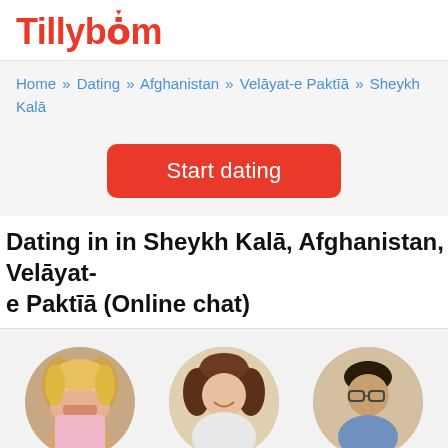Tillybom
Home » Dating » Afghanistan » Velāyat-e Paktīā » Sheykh Kalā
Start dating
Dating in in Sheykh Kalā, Afghanistan, Velāyat-e Paktīā (Online chat)
[Figure (photo): Profile photo of Kristin, 41, Sheykh Kalā — woman with blonde hair]
Kristin, 41
Sheykh Kalā
[Figure (photo): Profile photo of Ellen, 75, Sheykh Kalā — woman with curly dark hair]
Ellen, 75
Sheykh Kalā
[Figure (photo): Profile photo of Salman, 31, Sheykh Kalā — man with glasses]
Salman, 31
Sheykh Kalā